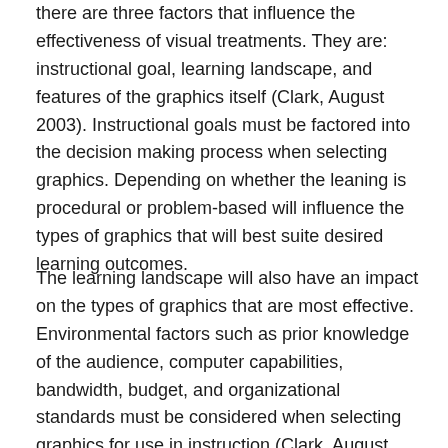there are three factors that influence the effectiveness of visual treatments. They are: instructional goal, learning landscape, and features of the graphics itself (Clark, August 2003). Instructional goals must be factored into the decision making process when selecting graphics. Depending on whether the leaning is procedural or problem-based will influence the types of graphics that will best suite desired learning outcomes.
The learning landscape will also have an impact on the types of graphics that are most effective. Environmental factors such as prior knowledge of the audience, computer capabilities, bandwidth, budget, and organizational standards must be considered when selecting graphics for use in instruction (Clark, August 2003). Clark explains that graphics contain two types of features, surface and